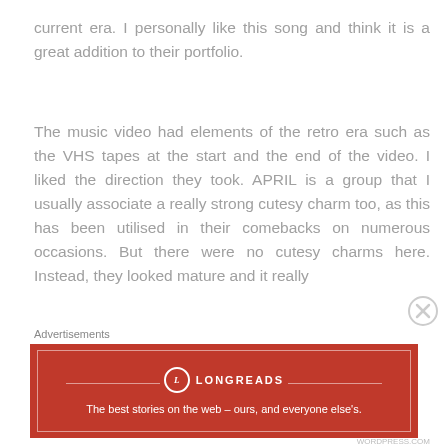current era. I personally like this song and think it is a great addition to their portfolio.
The music video had elements of the retro era such as the VHS tapes at the start and the end of the video. I liked the direction they took. APRIL is a group that I usually associate a really strong cutesy charm too, as this has been utilised in their comebacks on numerous occasions. But there were no cutesy charms here. Instead, they looked mature and it really
Advertisements
[Figure (other): Longreads advertisement banner: circular logo with L, LONGREADS text, tagline 'The best stories on the web – ours, and everyone else's.' on red background]